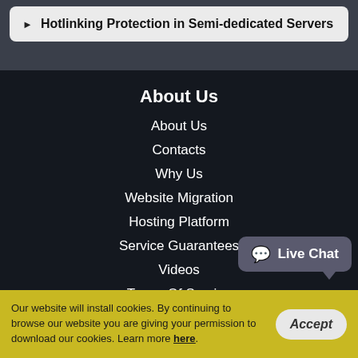Hotlinking Protection in Semi-dedicated Servers
About Us
About Us
Contacts
Why Us
Website Migration
Hosting Platform
Service Guarantees
Videos
Terms Of Service
Product Listing
Control Panel
Our website will install cookies. By continuing to browse our website you are giving your permission to download our cookies. Learn more here.